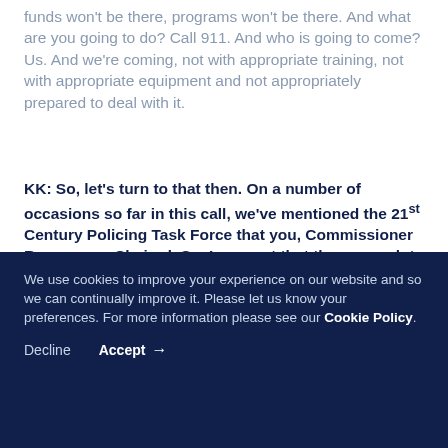funds won't be there, programs won't be there. And what are you going to do? Call 911. And who is going to come? Us. And we're coming, not with appropriate training, not with appropriate equipment and not appropriately prepared to deal with it.
KK: So, let's turn to that then. On a number of occasions so far in this call, we've mentioned the 21st Century Policing Task Force that you, Commissioner Ramsey, co-Chaired. So, I suspect that there are a lot of people in our audience who are unfamiliar with it. So perhaps you could take a moment and just describe what it is and
We use cookies to improve your experience on our website and so we can continually improve it. Please let us know your preferences. For more information please see our Cookie Policy.
Decline   Accept →